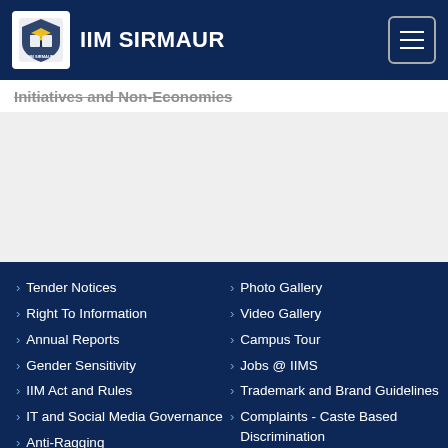IIM SIRMAUR
Initiatives and Non-Economies
Tender Notices
Right To Information
Annual Reports
Gender Sensitivity
IIM Act and Rules
IT and Social Media Governance
Anti-Ragging
Online Payment
NIRF
Photo Gallery
Video Gallery
Campus Tour
Jobs @ IIMS
Trademark and Brand Guidelines
Complaints - Caste Based Discrimination
Our Staff
Contact Us
Webmail
Alumni